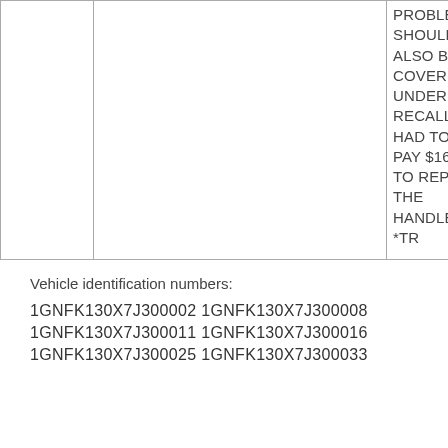|  |  | PROBLEM SHOULD ALSO BE COVERED UNDER A RECALL. I HAD TO PAY $160 TO REPAIR THE HANDLE. *TR |
Vehicle identification numbers:
1GNFK130X7J300002 1GNFK130X7J300008
1GNFK130X7J300011 1GNFK130X7J300016
1GNFK130X7J300025 1GNFK130X7J300033